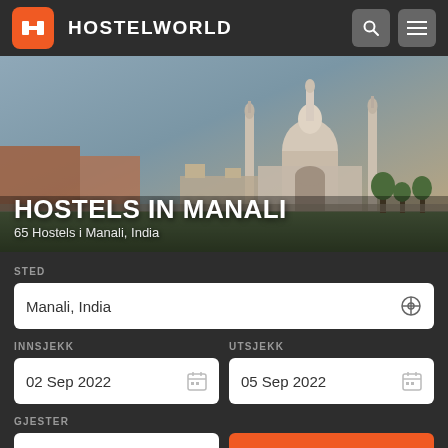[Figure (logo): Hostelworld logo with orange H icon and white HOSTELWORLD text]
[Figure (photo): Hero background photo of Taj Mahal / Indian architecture in dusk light with text overlay: HOSTELS IN MANALI and 65 Hostels i Manali, India]
HOSTELS IN MANALI
65 Hostels i Manali, India
STED
Manali, India
INNSJEKK
02 Sep 2022
UTSJEKK
05 Sep 2022
GJESTER
2 Gjester
Søk